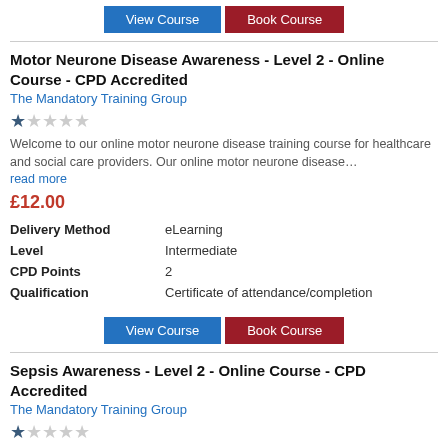[Figure (other): View Course and Book Course buttons at top]
Motor Neurone Disease Awareness - Level 2 - Online Course - CPD Accredited
The Mandatory Training Group
[Figure (other): 1 out of 5 stars rating]
Welcome to our online motor neurone disease training course for healthcare and social care providers. Our online motor neurone disease...
read more
£12.00
|  |  |
| --- | --- |
| Delivery Method | eLearning |
| Level | Intermediate |
| CPD Points | 2 |
| Qualification | Certificate of attendance/completion |
[Figure (other): View Course and Book Course buttons]
Sepsis Awareness - Level 2 - Online Course - CPD Accredited
The Mandatory Training Group
[Figure (other): 1 out of 5 stars rating]
Identifying and managing sepsis in primary care and secondary care is an important measure in reducing deaths from sepsis across...
read more